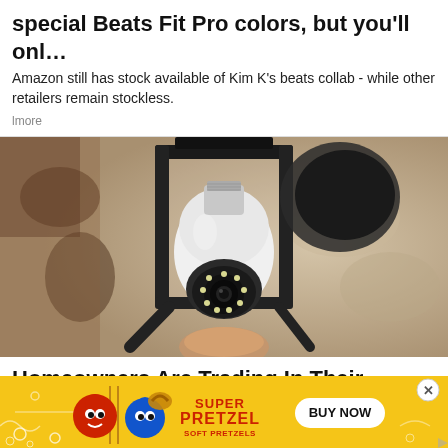special Beats Fit Pro colors, but you'll onl…
Amazon still has stock available of Kim K's beats collab - while other retailers remain stockless.
lmore
[Figure (photo): A security camera shaped like a light bulb installed inside a black metal lantern wall fixture mounted on a stone/brick wall.]
Homeowners Are Trading In Their Doorbell
[Figure (infographic): Advertisement banner for SuperPretzel Soft Pretzels with yellow background, cartoon pretzel mascots, SuperPretzel logo, and a BUY NOW button. Close button in top right corner.]